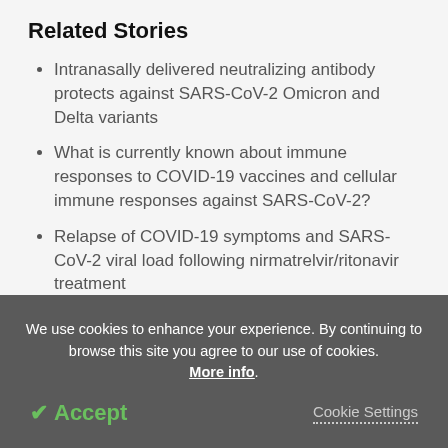Related Stories
Intranasally delivered neutralizing antibody protects against SARS-CoV-2 Omicron and Delta variants
What is currently known about immune responses to COVID-19 vaccines and cellular immune responses against SARS-CoV-2?
Relapse of COVID-19 symptoms and SARS-CoV-2 viral load following nirmatrelvir/ritonavir treatment
We use cookies to enhance your experience. By continuing to browse this site you agree to our use of cookies. More info.
✔ Accept
Cookie Settings